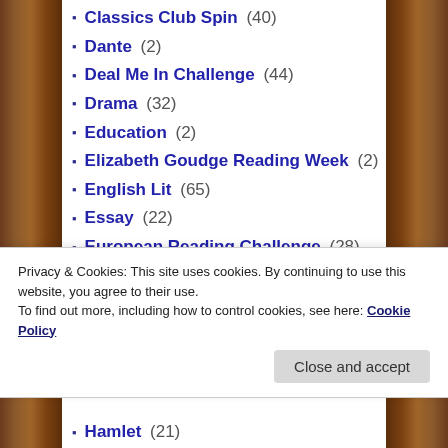Classics Club Spin (40)
Dante (2)
Deal Me In Challenge (44)
Drama (32)
Education (2)
Elizabeth Goudge Reading Week (2)
English Lit (65)
Essay (22)
European Reading Challenge (28)
Fairy Tales (1)
Fantasy (2)
French Literature (10)
German Lit (4)
Gibbons (1)
Privacy & Cookies: This site uses cookies. By continuing to use this website, you agree to their use. To find out more, including how to control cookies, see here: Cookie Policy
Hamlet (21)